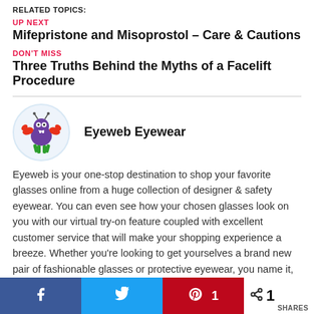RELATED TOPICS:
UP NEXT
Mifepristone and Misoprostol – Care & Cautions
DON'T MISS
Three Truths Behind the Myths of a Facelift Procedure
[Figure (illustration): Eyeweb Eyewear logo: cartoon crab-like creature with purple round body, red claws, green legs, and antennae inside a circular light blue background]
Eyeweb Eyewear
Eyeweb is your one-stop destination to shop your favorite glasses online from a huge collection of designer & safety eyewear. You can even see how your chosen glasses look on you with our virtual try-on feature coupled with excellent customer service that will make your shopping experience a breeze. Whether you're looking to get yourselves a brand new pair of fashionable glasses or protective eyewear, you name it, we have it. There are tons of top drawer PPE brands to choose from such as Wiley, Pentax, Uvex &
1 SHARES